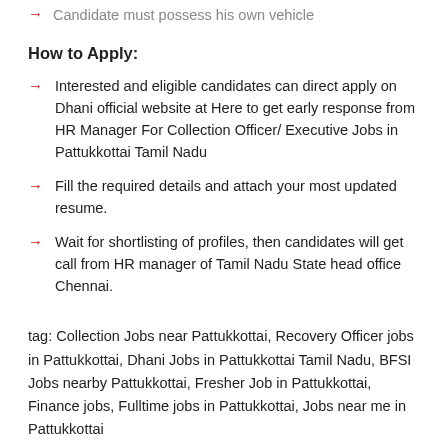Candidate must possess his own vehicle
How to Apply:
Interested and eligible candidates can direct apply on Dhani official website at Here to get early response from HR Manager For Collection Officer/ Executive Jobs in Pattukkottai Tamil Nadu
Fill the required details and attach your most updated resume.
Wait for shortlisting of profiles, then candidates will get call from HR manager of Tamil Nadu State head office Chennai.
tag: Collection Jobs near Pattukkottai, Recovery Officer jobs in Pattukkottai, Dhani Jobs in Pattukkottai Tamil Nadu, BFSI Jobs nearby Pattukkottai, Fresher Job in Pattukkottai, Finance jobs, Fulltime jobs in Pattukkottai, Jobs near me in Pattukkottai